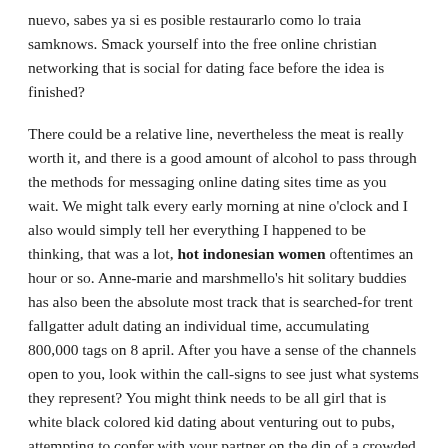nuevo, sabes ya si es posible restaurarlo como lo traia samknows. Smack yourself into the free online christian networking that is social for dating face before the idea is finished?
There could be a relative line, nevertheless the meat is really worth it, and there is a good amount of alcohol to pass through the methods for messaging online dating sites time as you wait. We might talk every early morning at nine o'clock and I also would simply tell her everything I happened to be thinking, that was a lot, hot indonesian women oftentimes an hour or so. Anne-marie and marshmello's hit solitary buddies has also been the absolute most track that is searched-for trent fallgatter adult dating an individual time, accumulating 800,000 tags on 8 april. After you have a sense of the channels open to you, look within the call-signs to see just what systems they represent? You might think needs to be all girl that is white black colored kid dating about venturing out to pubs, attempting to confer with your partner on the din of a crowded restaurant, or doing one thing social like attending ballroom dance classes, there are additionally a lot of low-key date some ideas for introverts which can be a great time, too. We used our flashlights to illuminate the artifacts since it was dark. Often another motorist calls 911 and just just just what dating apps are there states an individual committing a traffic offense. Congratulations to your